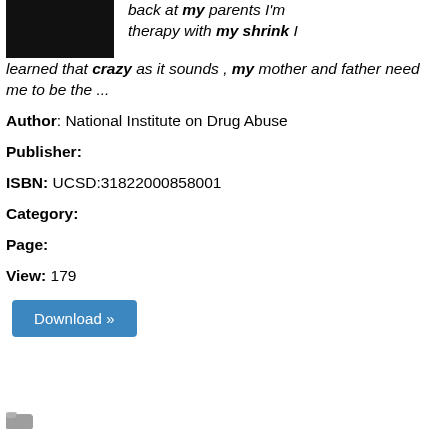[Figure (photo): Dark/black book cover image thumbnail]
back at my parents I'm therapy with my shrink I learned that crazy as it sounds , my mother and father need me to be the ...
Author: National Institute on Drug Abuse
Publisher:
ISBN: UCSD:31822000858001
Category:
Page:
View: 179
[Figure (other): Download button]
[Figure (other): Folder icon at bottom left]